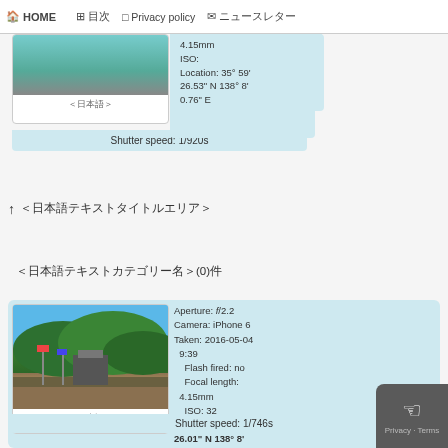HOME  目次  Privacy policy  ニュースレター
4.15mm
ISO: 
Location: 35° 59' 26.53" N 138° 8' 0.76" E
Shutter speed: 1/920s
↑ ＜日本語テキスト＞
＜日本語テキスト＞(0)件
[Figure (photo): Outdoor photo showing blue sky, green forested hillside, crowd and flags at what appears to be an outdoor festival or event]
＜日本語＞
Aperture: f/2.2
Camera: iPhone 6
Taken: 2016-05-04 9:39
Flash fired: no
Focal length: 4.15mm
ISO: 32
Location: 35° 59' 26.01" N 138° 8' 1.37" E
Shutter speed: 1/746s